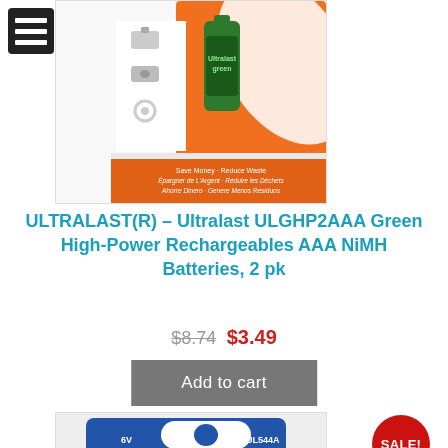[Figure (photo): Ultralast ULGHP2AAA Green High-Power Rechargeable AAA NiMH battery 2-pack product photo on orange and white packaging]
ULTRALAST(R) – Ultralast ULGHP2AAA Green High-Power Rechargeables AAA NiMH Batteries, 2 pk
$8.74 $3.49
Add to cart
[Figure (photo): Ultralast UL544A Specialty Alkaline A544 6V Photo/Security battery product photo on blue packaging]
SALE!